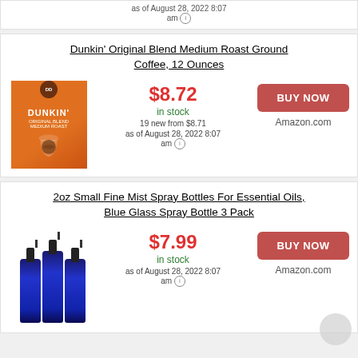as of August 28, 2022 8:07 am ℹ
Dunkin' Original Blend Medium Roast Ground Coffee, 12 Ounces
$8.72
in stock
19 new from $8.71
as of August 28, 2022 8:07 am ℹ
BUY NOW
Amazon.com
2oz Small Fine Mist Spray Bottles For Essential Oils, Blue Glass Spray Bottle 3 Pack
$7.99
in stock
as of August 28, 2022 8:07 am ℹ
BUY NOW
Amazon.com